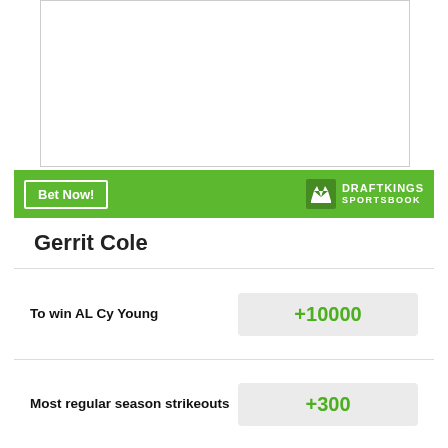[Figure (other): Empty white image placeholder area with border]
Bet Now!
[Figure (logo): DraftKings Sportsbook logo with crown icon and text DRAFTKINGS SPORTSBOOK]
Gerrit Cole
To win AL Cy Young
+10000
Most regular season strikeouts
+300